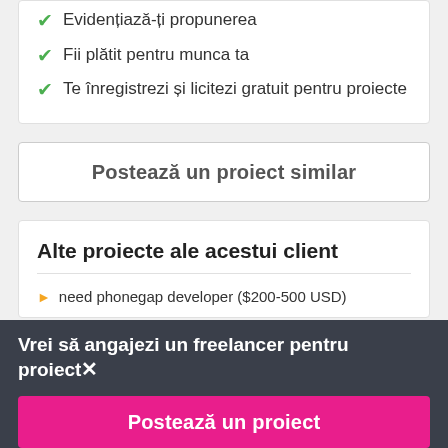Evidențiază-ți propunerea
Fii plătit pentru munca ta
Te înregistrezi și licitezi gratuit pentru proiecte
Postează un proiect similar
Alte proiecte ale acestui client
need phonegap developer ($200-500 USD)
Vrei să angajezi un freelancer pentru proiect×
Postează un proiect